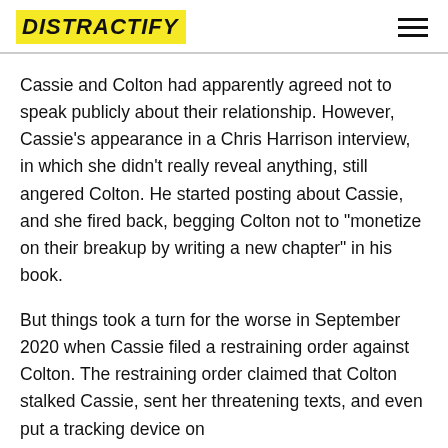DISTRACTIFY
Cassie and Colton had apparently agreed not to speak publicly about their relationship. However, Cassie’s appearance in a Chris Harrison interview, in which she didn’t really reveal anything, still angered Colton. He started posting about Cassie, and she fired back, begging Colton not to “monetize on their breakup by writing a new chapter” in his book.
But things took a turn for the worse in September 2020 when Cassie filed a restraining order against Colton. The restraining order claimed that Colton stalked Cassie, sent her threatening texts, and even put a tracking device on